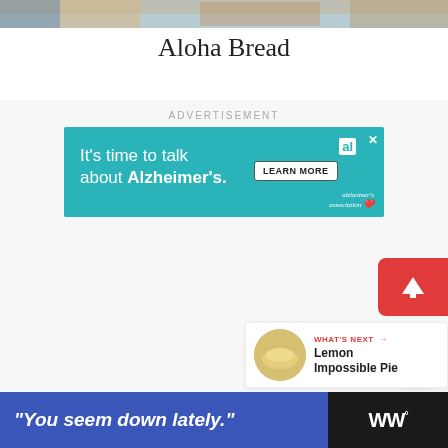[Figure (photo): Top portion of a photo showing a person and baked bread, cropped at top of page]
Aloha Bread
ADVERTISEMENT
[Figure (other): Alzheimer's Association advertisement banner: 'It's time to talk about Alzheimer's.' with LEARN MORE button and alzheimer's association logo]
[Figure (other): Red upload/scroll-to-top button with upward arrow]
[Figure (other): White circular share button with share icon]
[Figure (other): WHAT'S NEXT card showing Lemon Impossible Pie with circular thumbnail]
[Figure (other): Bottom advertisement banner: '"You seem down lately."' on blue background with WW logo on dark background]